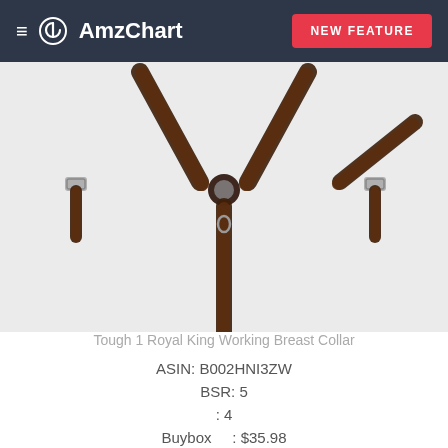≡  AmzChart   NEW FEATURE
[Figure (photo): Product photo of a brown leather horse breast collar (Tough 1 Royal King Working Breast Collar) showing the Y-shaped strap configuration with metal hardware, displayed on a light gray background.]
Tough 1 Royal King Working Breast Collar
ASIN: B002HNI3ZW
BSR: 5
: 4
Buybox    : $35.98